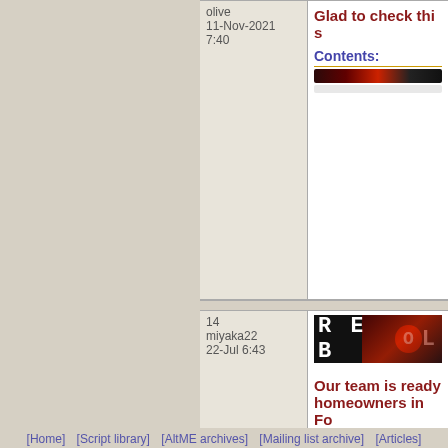olive
11-Nov-2021
7:40
Glad to check this
Contents:
14
miyaka22
22-Jul 6:43
[Figure (logo): REBOL logo banner with red circular O on black background]
Our team is ready homeowners in Fo
Contents:
paving stones
[Home]  [Script library]  [AltME archives]  [Mailing list archive]  [Articles]